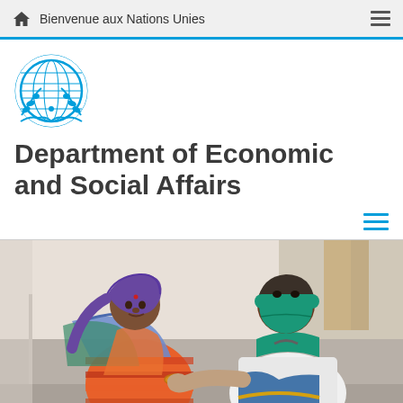Bienvenue aux Nations Unies
[Figure (logo): United Nations emblem logo in blue]
Department of Economic and Social Affairs
[Figure (photo): A healthcare worker wearing a teal face mask and head covering examines or assists a patient wearing a colorful headscarf and striped clothing in what appears to be a medical facility.]